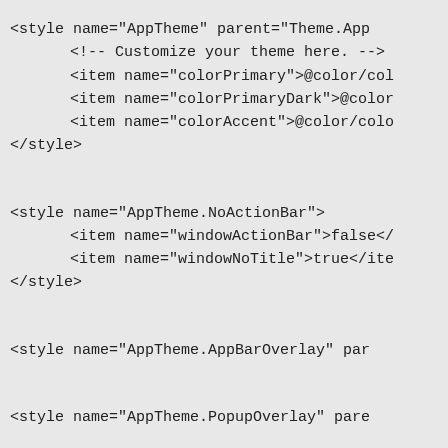<style name="AppTheme" parent="Theme.App
    <!-- Customize your theme here. -->
    <item name="colorPrimary">@color/col
    <item name="colorPrimaryDark">@color
    <item name="colorAccent">@color/colo
</style>

<style name="AppTheme.NoActionBar">
    <item name="windowActionBar">false</
    <item name="windowNoTitle">true</ite
</style>

<style name="AppTheme.AppBarOverlay" par

<style name="AppTheme.PopupOverlay" pare

</resources>